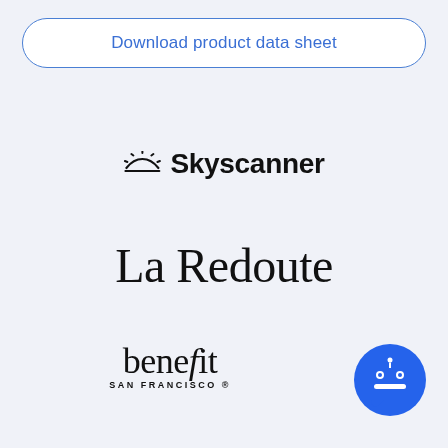Download product data sheet
[Figure (logo): Skyscanner logo with sun-ray icon and text 'Skyscanner']
[Figure (logo): La Redoute logo in serif font]
[Figure (logo): benefit SAN FRANCISCO logo in serif font]
[Figure (illustration): Blue circle chatbot icon with robot face and speech bubble]